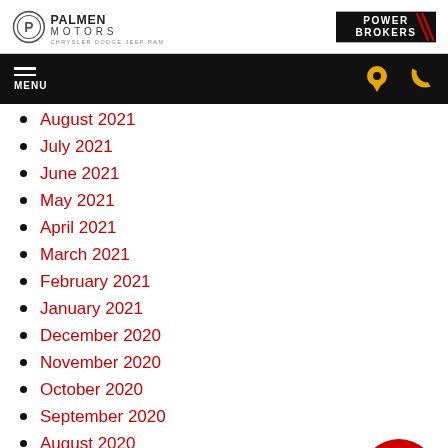Palmen Motors | Power Brokers
MENU
August 2021
July 2021
June 2021
May 2021
April 2021
March 2021
February 2021
January 2021
December 2020
November 2020
October 2020
September 2020
August 2020
July 2020
[Figure (illustration): Red circular chat bubble icon in bottom right corner]